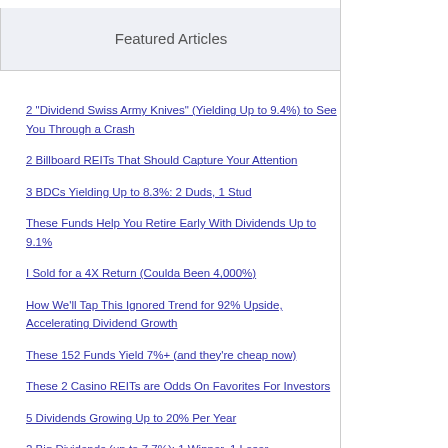Featured Articles
2 "Dividend Swiss Army Knives" (Yielding Up to 9.4%) to See You Through a Crash
2 Billboard REITs That Should Capture Your Attention
3 BDCs Yielding Up to 8.3%: 2 Duds, 1 Stud
These Funds Help You Retire Early With Dividends Up to 9.1%
I Sold for a 4X Return (Coulda Been 4,000%)
How We'll Tap This Ignored Trend for 92% Upside, Accelerating Dividend Growth
These 152 Funds Yield 7%+ (and they're cheap now)
These 2 Casino REITs are Odds On Favorites For Investors
5 Dividends Growing Up to 20% Per Year
2 Big Dividends (up to 7.7%): 1 Winner, 1 Loser